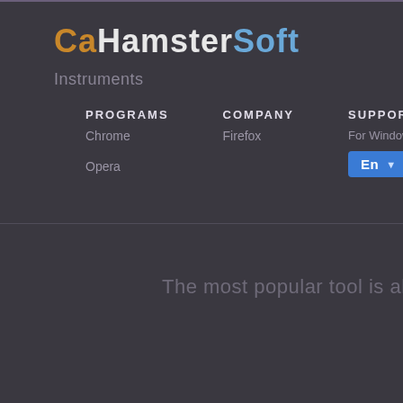CaHamsterSoft
Instruments
PROGRAMS
Chrome
Opera
COMPANY
Firefox
SUPPORT
For Windows 7, 8, 10
En ▼
The most popular tool is always in quick a